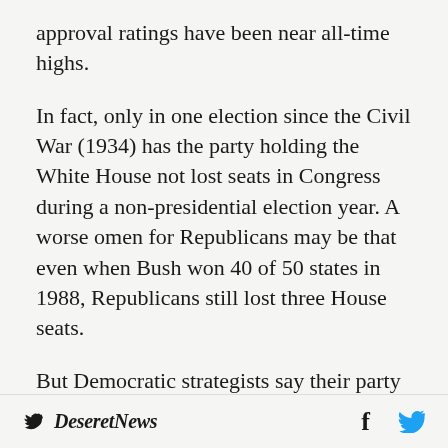approval ratings have been near all-time highs.
In fact, only in one election since the Civil War (1934) has the party holding the White House not lost seats in Congress during a non-presidential election year. A worse omen for Republicans may be that even when Bush won 40 of 50 states in 1988, Republicans still lost three House seats.
But Democratic strategists say their party now holds such a huge majority and almost all of the closely contested districts that it would be surprising if Republicans did not win back at least a few House seats this year. Democrats still
Deseret News